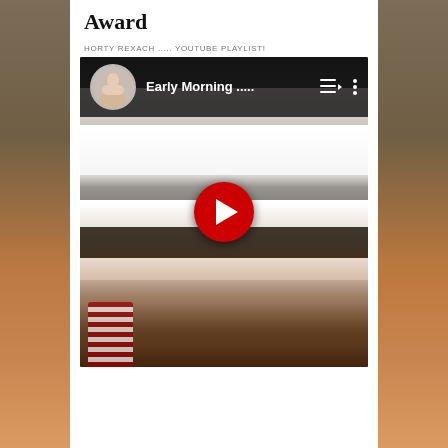Award
HORTY REXACH ….. YOUTUBE PLAYLIST!
[Figure (screenshot): YouTube video thumbnail showing a person playing a white piano, with a YouTube play button overlay. Video title reads 'Early Morning .....' with a circular avatar of a person in the top left.]